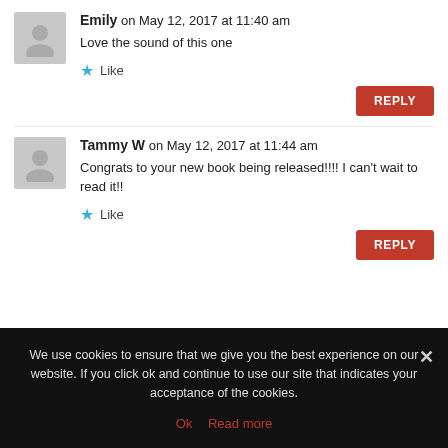Emily on May 12, 2017 at 11:40 am
Love the sound of this one
Like
REPLY
Tammy W on May 12, 2017 at 11:44 am
Congrats to your new book being released!!!! I can't wait to read it!!
Like
REPLY
We use cookies to ensure that we give you the best experience on our website. If you click ok and continue to use our site that indicates your acceptance of the cookies.
Ok  Read more